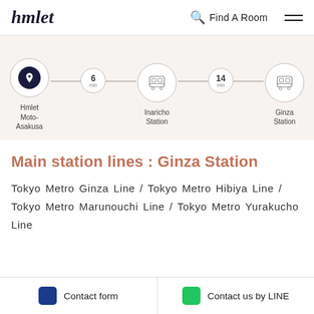hmlet
Find A Room
[Figure (infographic): Transit route diagram showing: Hmlet Moto-Asakusa (home icon, dark circle) → 6 min → Inaricho Station (train icon) → 14 min → Ginza Station (train icon)]
Main station lines : Ginza Station
Tokyo Metro Ginza Line / Tokyo Metro Hibiya Line / Tokyo Metro Marunouchi Line / Tokyo Metro Yurakucho Line
Contact form
Contact us by LINE